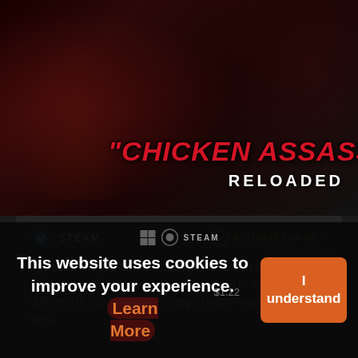[Figure (screenshot): Game key store page screenshot showing Chicken Assassin Reloaded game art with a muscular chicken character, red stylized title text, Steam platform info, game description, and a cookie consent banner overlay.]
CHICKEN ASSASSIN RELOADED
STEAM  ACTIVATES IN US
Fight your way as Mean Mcallister, the baddest chicken in town, through multiple hordes of enemies to save your girlfriend in this hilarious, strategic button-mashing, action-RPG.
This website uses cookies to improve your experience. Learn More
I understand